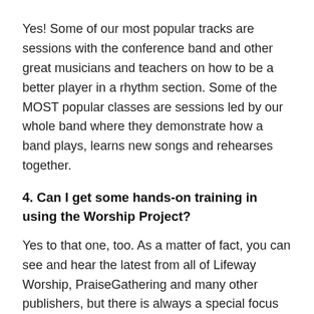Yes! Some of our most popular tracks are sessions with the conference band and other great musicians and teachers on how to be a better player in a rhythm section. Some of the MOST popular classes are sessions led by our whole band where they demonstrate how a band plays, learns new songs and rehearses together.
4. Can I get some hands-on training in using the Worship Project?
Yes to that one, too. As a matter of fact, you can see and hear the latest from all of Lifeway Worship, PraiseGathering and many other publishers, but there is always a special focus on LifewayWorship.com in the conference.
5. I'm 26 and fairly new to music ministry/worship